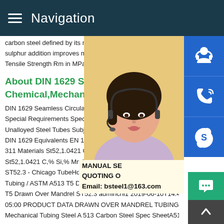Navigation
carbon steel defined by its mechanical pro sulphur addition improves machinability.M Tensile Strength Rm in MPa for wall thickr
About DIN 1629 St52 Chemical,Mechanical,Equival
DIN 1629 Seamless Circular Unalloyed St Special Requirements Specification DIN 1 Unalloyed Steel Tubes Subject to Special DIN 1629 Equivalents EN 10216-1,ASTM 311 Materials St52,1.0421 Chemistry Com St52,1.0421 C,% Si,% Mn,%ASTM A513 - T5 Drawn Over Mandrel ST52.3 - Chicago TubeHome / Products / Round Mechanical Tubing / ASTM A513 T5 Drawn Over Mandrel ST52.3 ASTM A T5 Drawn Over Mandrel ST52.3 adminchi1 2019-06-10T14:43 05:00 PRODUCT DATA DRAWN OVER MANDREL TUBINGA Mechanical Tubing Steel A 513 Carbon Steel Spec SheetA512
[Figure (photo): Customer service representative woman with headset]
MANUAL SE QUOTING O Email: bsteel1@163.com